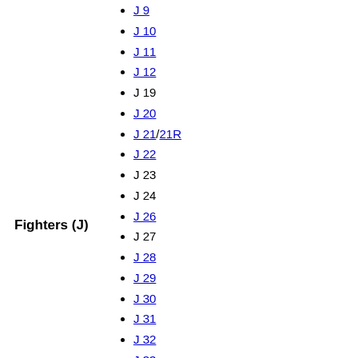Fighters (J)
J 9
J 10
J 11
J 12
J 19
J 20
J 21/21R
J 22
J 23
J 24
J 26
J 27
J 28
J 29
J 30
J 31
J 32
J 33
J 34
J 35
JA 37
JAS 39
Ö 1
Ö 2